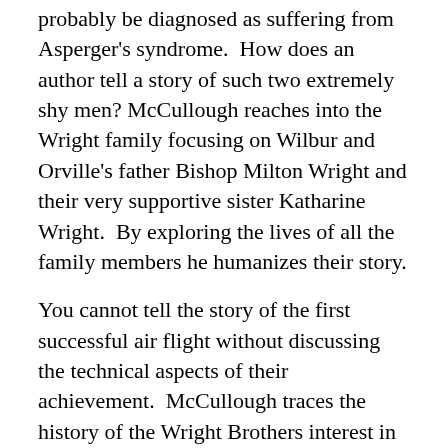probably be diagnosed as suffering from Asperger's syndrome. How does an author tell a story of such two extremely shy men? McCullough reaches into the Wright family focusing on Wilbur and Orville's father Bishop Milton Wright and their very supportive sister Katharine Wright. By exploring the lives of all the family members he humanizes their story.
You cannot tell the story of the first successful air flight without discussing the technical aspects of their achievement. McCullough traces the history of the Wright Brothers interest in flight to their success at Kitty Hawk.
McCullough is a great storyteller. No doubt "The Wright Brothers" will envelop...